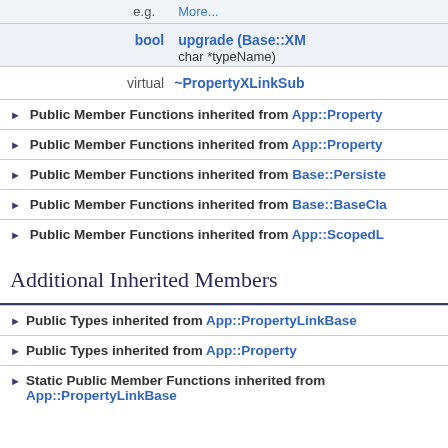| e.g. | More... |
| bool | upgrade (Base::XM... char *typeName) |
| virtual | ~PropertyXLinkSub... |
▶ Public Member Functions inherited from App::Property...
▶ Public Member Functions inherited from App::Property...
▶ Public Member Functions inherited from Base::Persiste...
▶ Public Member Functions inherited from Base::BaseCla...
▶ Public Member Functions inherited from App::ScopedL...
Additional Inherited Members
▶ Public Types inherited from App::PropertyLinkBase
▶ Public Types inherited from App::Property
▶ Static Public Member Functions inherited from App::PropertyLinkBase